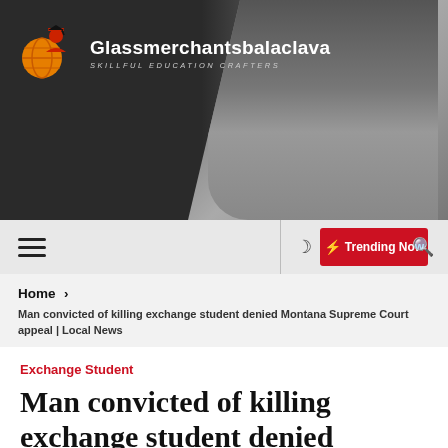[Figure (photo): Website header banner showing a woman reading a book against a dark background, with the Glassmerchantsbalaclava logo and tagline on the left side]
Glassmerchantsbalaclava — SKILLFUL EDUCATION CRAFTERS
☰   ☽   ⚡ Trending Now   🔍
Home > Man convicted of killing exchange student denied Montana Supreme Court appeal | Local News
Exchange Student
Man convicted of killing exchange student denied